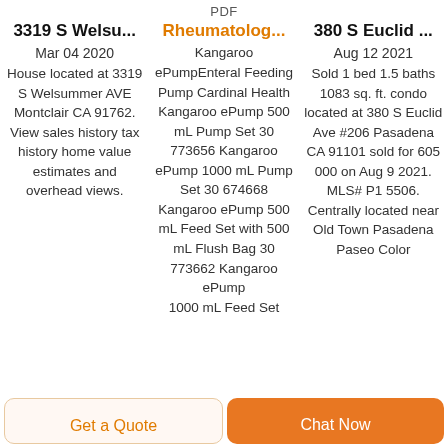PDF
3319 S Welsu...
Rheumatolog...
380 S Euclid ...
Mar 04 2020 House located at 3319 S Welsummer AVE Montclair CA 91762. View sales history tax history home value estimates and overhead views.
Kangaroo ePumpEnteral Feeding Pump Cardinal Health Kangaroo ePump 500 mL Pump Set 30 773656 Kangaroo ePump 1000 mL Pump Set 30 674668 Kangaroo ePump 500 mL Feed Set with 500 mL Flush Bag 30 773662 Kangaroo ePump 1000 mL Feed Set
Aug 12 2021 Sold 1 bed 1.5 baths 1083 sq. ft. condo located at 380 S Euclid Ave #206 Pasadena CA 91101 sold for 605 000 on Aug 9 2021. MLS# P1 5506. Centrally located near Old Town Pasadena Paseo Color
Get a Quote
Chat Now